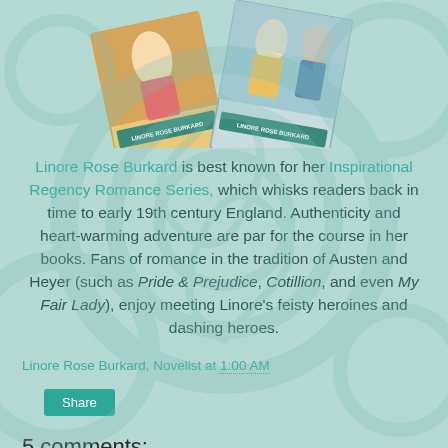[Figure (illustration): Two overlapping Regency romance novel book covers by Linore Rose Burkard, showing women in period dress against historic backgrounds.]
Linore Rose Burkard is best known for her Inspirational Regency Romance Series, which whisks readers back in time to early 19th century England. Authenticity and heart-warming adventure are par for the course in her books. Fans of romance in the tradition of Austen and Heyer (such as Pride & Prejudice, Cotillion, and even My Fair Lady), enjoy meeting Linore's feisty heroines and dashing heroes.
Linore Rose Burkard, Novelist at 1:00 AM
Share
5 comments: